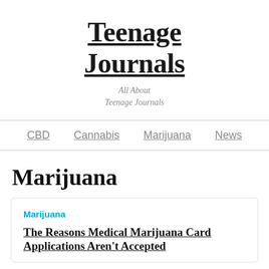Teenage Journals
All About
Teenage Journals
CBD   Cannabis   Marijuana   News
Marijuana
Marijuana
The Reasons Medical Marijuana Card Applications Aren't Accepted